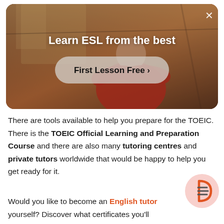[Figure (photo): Advertisement banner showing a person in a red shirt with arms outstretched in an indoor setting. Text overlay: 'Learn ESL from the best' with a 'First Lesson Free >' button. Close button (X) top right.]
There are tools available to help you prepare for the TOEIC. There is the TOEIC Official Learning and Preparation Course and there are also many tutoring centres and private tutors worldwide that would be happy to help you get ready for it.
Would you like to become an English tutor yourself? Discover what certificates you'll